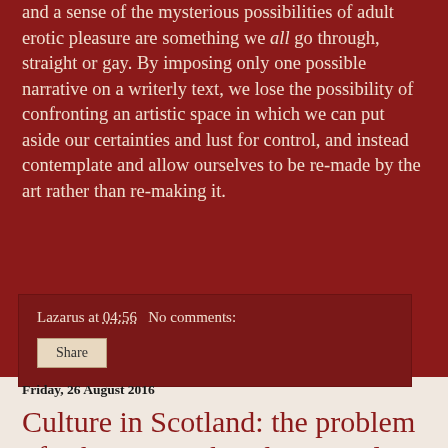and a sense of the mysterious possibilities of adult erotic pleasure are something we all go through, straight or gay. By imposing only one possible narrative on a writerly text, we lose the possibility of confronting an artistic space in which we can put aside our certainties and lust for control, and instead contemplate and allow ourselves to be re-made by the art rather than re-making it.
Lazarus at 04:56   No comments:
Share
Friday, 26 August 2016
Culture in Scotland: the problem of substance rather than simply